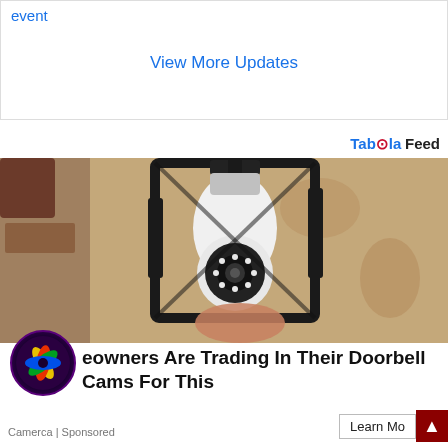event
View More Updates
Taboola Feed
[Figure (photo): A white smart camera bulb installed inside a black outdoor wall lantern fixture mounted on a textured stone/stucco wall. A hand is visible installing the bulb. The camera has a circular lens with LED ring lights.]
[Figure (logo): Circular logo with purple/dark background and colorful feather/leaf shapes in yellow, green, red, blue]
eowners Are Trading In Their Doorbell Cams For This
Camerca | Sponsored
Learn Mo